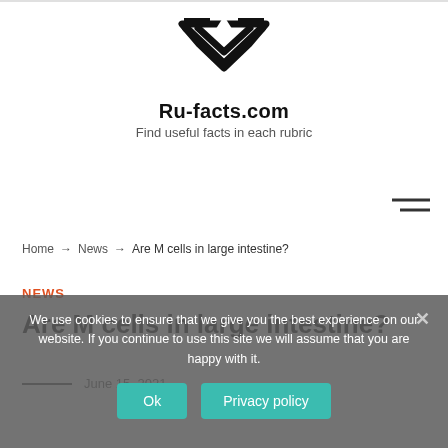[Figure (logo): Ru-facts.com stylized arrow/chevron logo in black]
Ru-facts.com
Find useful facts in each rubric
[Figure (other): Hamburger menu icon (two horizontal lines)]
Home → News → Are M cells in large intestine?
NEWS
Are M cells in large intestine?
June 15, 2021
We use cookies to ensure that we give you the best experience on our website. If you continue to use this site we will assume that you are happy with it.